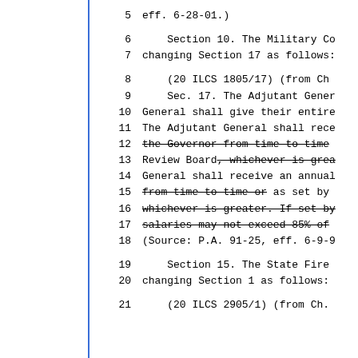5    eff. 6-28-01.)
6        Section 10. The Military Co
7    changing Section 17 as follows:
8        (20 ILCS 1805/17)  (from Ch
9        Sec. 17. The Adjutant Gener
10   General shall give their entire
11   The Adjutant General shall rece
12   the Governor from time to time [strikethrough]
13   Review Board, whichever is grea [strikethrough]
14   General shall receive an annual
15   from time to time or [strikethrough] as set by
16   whichever is greater. If set by [strikethrough]
17   salaries may not exceed 85% of [strikethrough]
18   (Source: P.A. 91-25, eff. 6-9-9
19       Section 15. The State Fire
20   changing Section 1 as follows:
21       (20 ILCS 2905/1)  (from Ch.